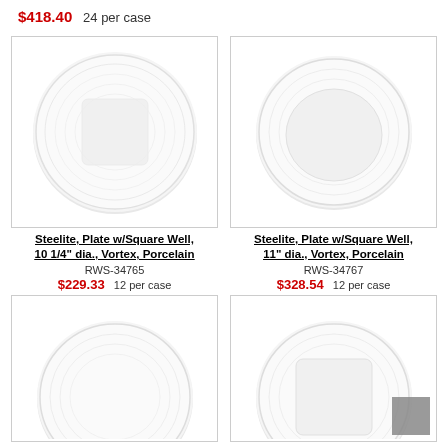$418.40   24 per case
[Figure (photo): White porcelain plate with square well, 10 1/4 inch diameter, Steelite Vortex]
Steelite, Plate w/Square Well, 10 1/4" dia., Vortex, Porcelain
RWS-34765
$229.33   12 per case
[Figure (photo): White porcelain plate with square well, 11 inch diameter, Steelite Vortex]
Steelite, Plate w/Square Well, 11" dia., Vortex, Porcelain
RWS-34767
$328.54   12 per case
[Figure (photo): White porcelain plate, Steelite Vortex, bottom row left]
[Figure (photo): White porcelain plate with square well, Steelite Vortex, bottom row right]